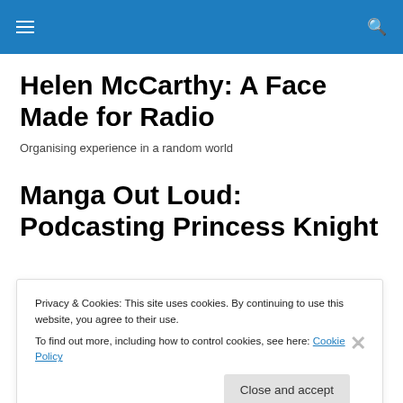≡ 🔍
Helen McCarthy: A Face Made for Radio
Organising experience in a random world
Manga Out Loud: Podcasting Princess Knight
Privacy & Cookies: This site uses cookies. By continuing to use this website, you agree to their use.
To find out more, including how to control cookies, see here: Cookie Policy
Close and accept